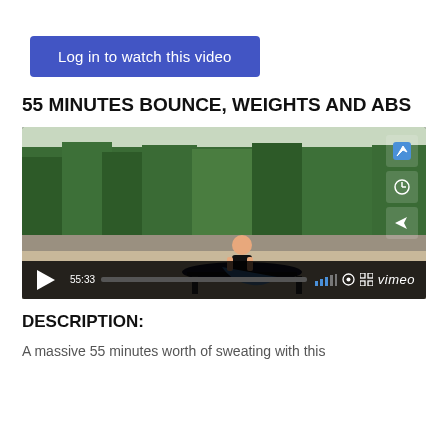Log in to watch this video
55 MINUTES BOUNCE, WEIGHTS AND ABS
[Figure (screenshot): Video thumbnail showing a woman sitting on a trampoline outdoors with green trees in the background, with Vimeo video player controls showing 55:33 duration]
DESCRIPTION:
A massive 55 minutes worth of sweating with this